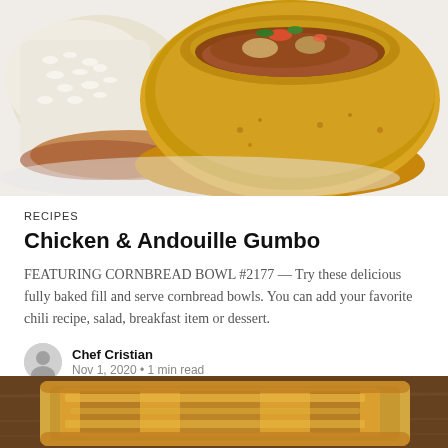[Figure (photo): A golden cornbread bowl filled with chicken and andouille gumbo, served with white rice on a white plate]
RECIPES
Chicken & Andouille Gumbo
FEATURING CORNBREAD BOWL #2177 — Try these delicious fully baked fill and serve cornbread bowls. You can add your favorite chili recipe, salad, breakfast item or dessert.
Chef Cristian
Nov 1, 2020 • 1 min read
[Figure (photo): A grilled sandwich or toast with golden brown crust on a wooden surface]